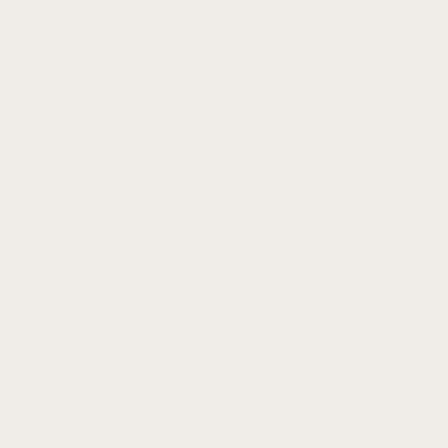| Field Name |
| --- |
| dc.subject.classification |
| dc.title |
| dc.type |
| utue.personen.pnd |
| utue.publikation.seiten |
| utue.personen.roh |
| dcterms.isPartOf.ZSTitelID |
| dcterms.isPartOf.ZS-Issue |
| dcterms.isPartOf.ZS-Volume |
| utue.publikation.seitenges |
| utue.titel.verfasserangabe |
| utue.publikation.abrufzeic |
| utue.publikation.swbdatum |